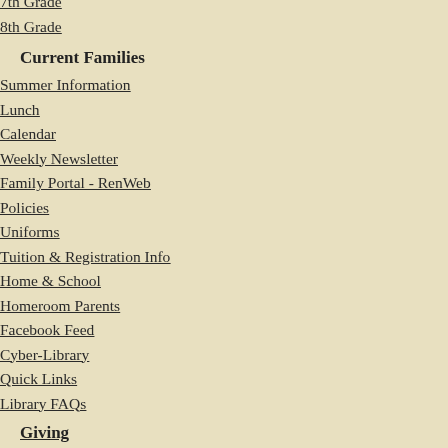7th Grade
8th Grade
Current Families
Summer Information
Lunch
Calendar
Weekly Newsletter
Family Portal - RenWeb
Policies
Uniforms
Tuition & Registration Info
Home & School
Homeroom Parents
Facebook Feed
Cyber-Library
Quick Links
Library FAQs
Giving
2022 Spring Challenge
2021 Annual Appeal